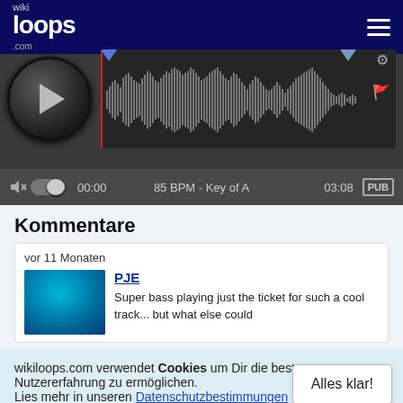wikiloops.com
[Figure (screenshot): Audio player with waveform, play button, time display showing 00:00 and 03:08, 85 BPM Key of A, PUB button]
Kommentare
vor 11 Monaten
PJE
Super bass playing just the ticket for such a cool track... but what else could
wikiloops.com verwendet Cookies um Dir die beste Nutzererfahrung zu ermöglichen.
Lies mehr in unseren Datenschutzbestimmungen .